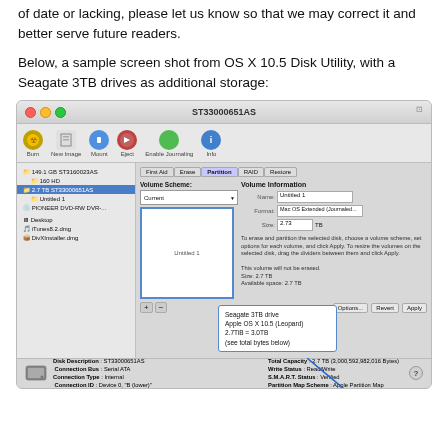of date or lacking, please let us know so that we may correct it and better serve future readers.
Below, a sample screen shot from OS X 10.5 Disk Utility, with a Seagate 3TB drives as additional storage:
[Figure (screenshot): Screenshot of OS X 10.5 Disk Utility showing a Seagate 3TB drive (ST33000651AS) with a partition labeled 'Untitled 1'. A callout box notes: 'Seagate 3TB drive, Apple OS X 10.5 (Leopard), 2.7TiB = 3.0TB (see total bytes below)'. The disk info shows Total Capacity: 2.7 TB (3,000,592,982,016 Bytes), Write Status: Read/Write, S.M.A.R.T. Status: Verified, Partition Map Scheme: Apple Partition Map.]